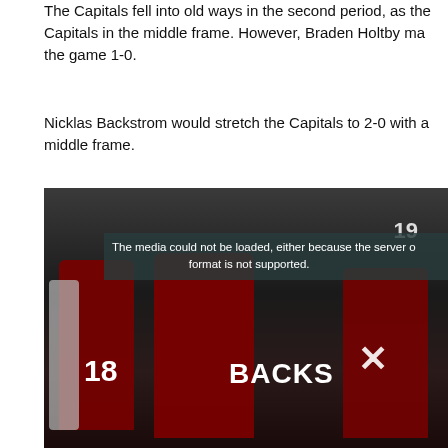The Capitals fell into old ways in the second period, as the Capitals in the middle frame. However, Braden Holtby ma... the game 1-0.
Nicklas Backstrom would stretch the Capitals to 2-0 with a... middle frame.
[Figure (photo): Video player showing hockey players in red Washington Capitals jerseys including players numbered 18 and 19, with a Backstrom nameplate visible. An error message overlay reads: 'The media could not be loaded, either because the server o... format is not supported.' A close (X) button is visible.]